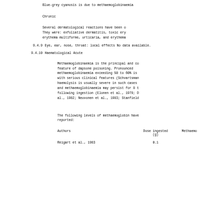Blue-grey cyanosis is due to methaemoglobinaemia
Chronic
Several dermatological reactions have been o
They were: exfoliative dermatitis, toxic ery
erythema multiforme, urticaria, and erythema
9.4.9 Eye, ear, nose, throat: local effects
No data available.
9.4.10 Haematological
Acute
Methaemoglobinaemia is the principal and co
feature of dapsone poisoning. Pronounced
methaemoglobinaemia exceeding 50 to 60% is
with serious clinical features (Schvartsman
haemolysis is usually severe in such cases
and methaemoglobinaemia may persist for 8 t
following ingestion (Elonen et al., 1979; D
al., 1982; Neuvonen et al., 1983; Stanfield
The following levels of methaemoglobin have
reported:
| Authors | Dose ingested (g) | Methaemo |
| --- | --- | --- |
| Reigart et al., 1983 | 0.1 |  |